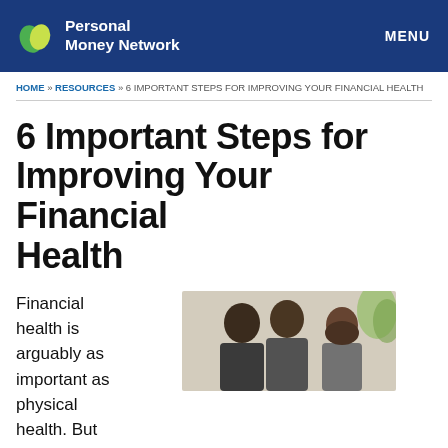Personal Money Network | MENU
HOME » RESOURCES » 6 IMPORTANT STEPS FOR IMPROVING YOUR FINANCIAL HEALTH
6 Important Steps for Improving Your Financial Health
Financial health is arguably as important as physical health. But
[Figure (photo): Photo of people sitting together, apparently in a meeting or consultation, viewed from behind/side angle. Office setting.]